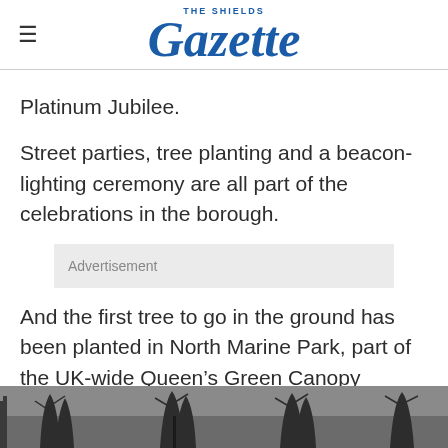THE SHIELDS Gazette
Platinum Jubilee.
Street parties, tree planting and a beacon-lighting ceremony are all part of the celebrations in the borough.
[Figure (other): Advertisement placeholder box]
And the first tree to go in the ground has been planted in North Marine Park, part of the UK-wide Queen’s Green Canopy initiative.
[Figure (photo): Photo of trees in a park, dark silhouette of bare winter trees against a grey sky]